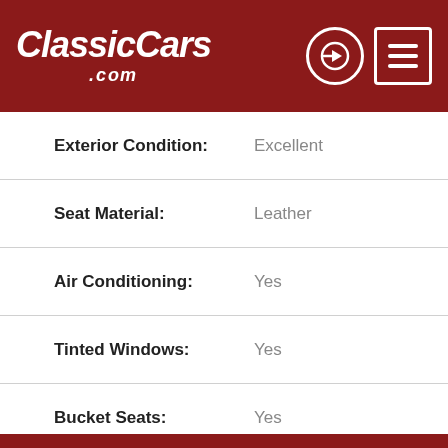ClassicCars.com
| Field | Value |
| --- | --- |
| Exterior Condition: | Excellent |
| Seat Material: | Leather |
| Air Conditioning: | Yes |
| Tinted Windows: | Yes |
| Bucket Seats: | Yes |
| Power Steering: | Yes |
| Tilt Wheel: | Yes |